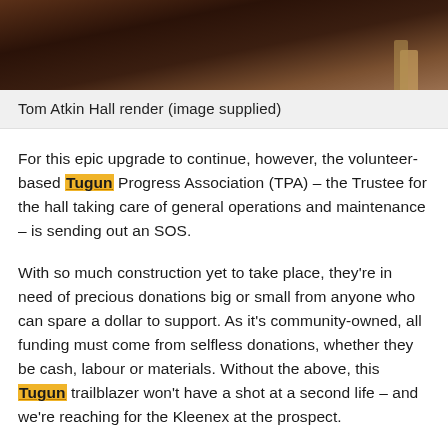[Figure (photo): Photo of Tom Atkin Hall render — partial view showing roof tiles and wooden structure in dark brown tones]
Tom Atkin Hall render (image supplied)
For this epic upgrade to continue, however, the volunteer-based Tugun Progress Association (TPA) – the Trustee for the hall taking care of general operations and maintenance – is sending out an SOS.
With so much construction yet to take place, they're in need of precious donations big or small from anyone who can spare a dollar to support. As it's community-owned, all funding must come from selfless donations, whether they be cash, labour or materials. Without the above, this Tugun trailblazer won't have a shot at a second life – and we're reaching for the Kleenex at the prospect.
So just what exactly goes down in this much-loved old-